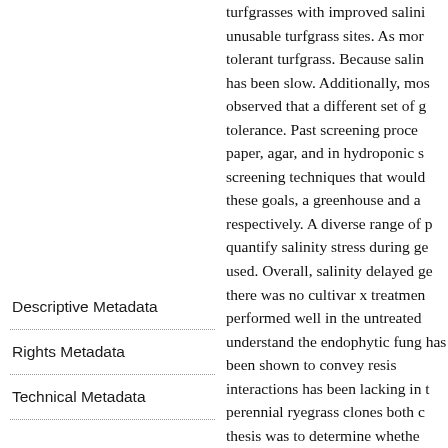Descriptive Metadata
Rights Metadata
Technical Metadata
turfgrasses with improved salini unusable turfgrass sites. As mor tolerant turfgrass. Because salin has been slow. Additionally, mos observed that a different set of g tolerance. Past screening proce paper, agar, and in hydroponic s screening techniques that would these goals, a greenhouse and a respectively. A diverse range of p quantify salinity stress during ge used. Overall, salinity delayed ge there was no cultivar x treatmen performed well in the untreated understand the endophytic fung has been shown to convey resis interactions has been lacking in t perennial ryegrass clones both c thesis was to determine whethe endophyte effect on salinity tole endophyte-host interaction wher perform worse. Due to the comp